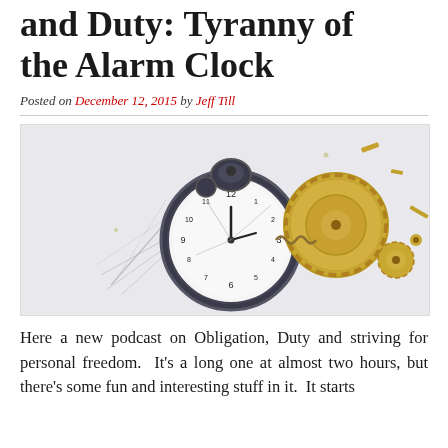and Duty: Tyranny of the Alarm Clock
Posted on December 12, 2015 by Jeff Till
[Figure (photo): An exploded alarm clock with its gears, springs, and parts scattered dramatically against a light grey background. The main clock face is visible in the center with broken glass, and brass/gold gear mechanisms are visible to the right.]
Here a new podcast on Obligation, Duty and striving for personal freedom.  It's a long one at almost two hours, but there's some fun and interesting stuff in it.  It starts